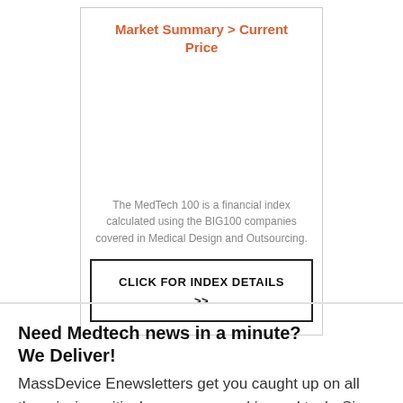Market Summary > Current Price
The MedTech 100 is a financial index calculated using the BIG100 companies covered in Medical Design and Outsourcing.
CLICK FOR INDEX DETAILS >>
Need Medtech news in a minute? We Deliver!
MassDevice Enewsletters get you caught up on all the mission critical news you need in med tech. Sign